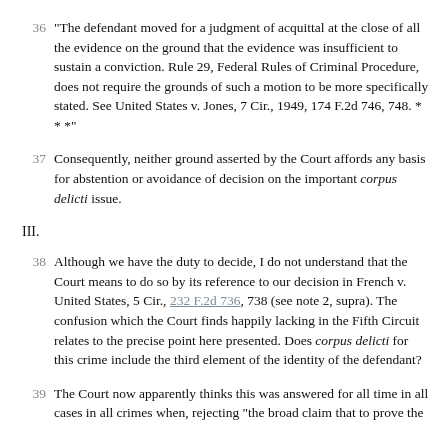36 "The defendant moved for a judgment of acquittal at the close of all the evidence on the ground that the evidence was insufficient to sustain a conviction. Rule 29, Federal Rules of Criminal Procedure, does not require the grounds of such a motion to be more specifically stated. See United States v. Jones, 7 Cir., 1949, 174 F.2d 746, 748. * * *"
37 Consequently, neither ground asserted by the Court affords any basis for abstention or avoidance of decision on the important corpus delicti issue.
III.
38 Although we have the duty to decide, I do not understand that the Court means to do so by its reference to our decision in French v. United States, 5 Cir., 232 F.2d 736, 738 (see note 2, supra). The confusion which the Court finds happily lacking in the Fifth Circuit relates to the precise point here presented. Does corpus delicti for this crime include the third element of the identity of the defendant?
39 The Court now apparently thinks this was answered for all time in all cases in all crimes when, rejecting "the broad claim that to prove the